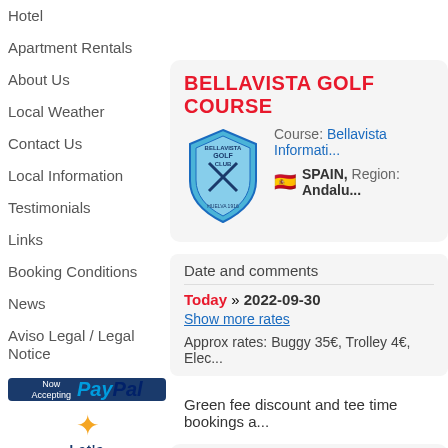Hotel
Apartment Rentals
About Us
Local Weather
Contact Us
Local Information
Testimonials
Links
Booking Conditions
News
Aviso Legal / Legal Notice
[Figure (logo): PayPal Now Accepting logo on dark blue background]
[Figure (logo): Let's Encrypt logo with sun icon]
BELLAVISTA GOLF COURSE
[Figure (logo): Bellavista Golf Club shield logo with crossed golf clubs]
Course: Bellavista Informati...
SPAIN, Region: Andalusia
Date and comments
Today » 2022-09-30
Show more rates
Approx rates: Buggy 35€, Trolley 4€, Elec...
Green fee discount and tee time bookings a...
BENALUP FAIRPLAY GOLF COU...
[Figure (logo): Benalup golf logo with asterisk/star icon]
4 / 5  1 ratings. Course: Benalup Fairplay I...